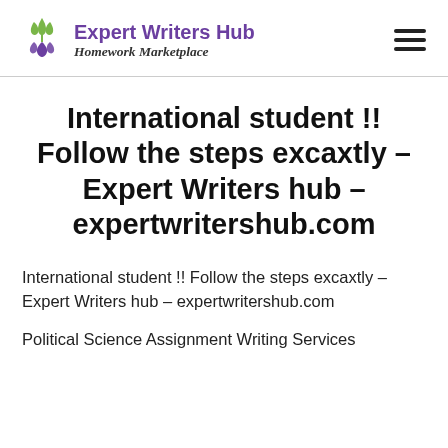Expert Writers Hub — Homework Marketplace
International student !! Follow the steps excaxtly – Expert Writers hub – expertwritershub.com
International student !! Follow the steps excaxtly – Expert Writers hub – expertwritershub.com
Political Science Assignment Writing Services